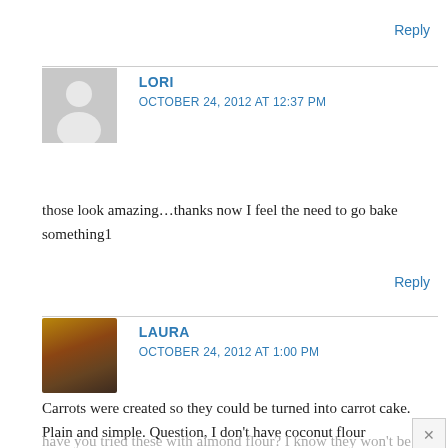Reply
LORI
OCTOBER 24, 2012 AT 12:37 PM
those look amazing…thanks now I feel the need to go bake something1
Reply
LAURA
OCTOBER 24, 2012 AT 1:00 PM
Carrots were created so they could be turned into carrot cake. Plain and simple. Question, I don't have coconut flour
have you tried these with almond flour? I know they won't be nut free and that's okay.